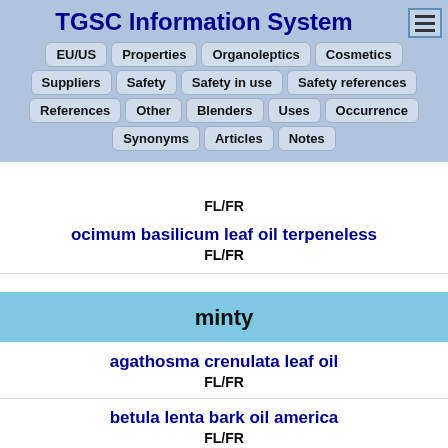TGSC Information System
EU/US | Properties | Organoleptics | Cosmetics
Suppliers | Safety | Safety in use | Safety references
References | Other | Blenders | Uses | Occurrence
Synonyms | Articles | Notes
FL/FR
ocimum basilicum leaf oil terpeneless
FL/FR
minty
agathosma crenulata leaf oil
FL/FR
betula lenta bark oil america
FL/FR
carnyl acetate (partially cut off)